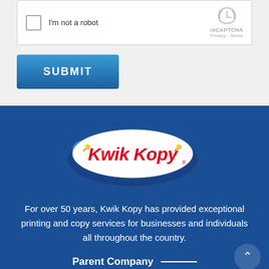[Figure (screenshot): reCAPTCHA widget with checkbox labeled 'I'm not a robot' and reCAPTCHA logo, Privacy and Terms links on the right]
SUBMIT
[Figure (logo): Kwik Kopy logo — oval white badge with red script lettering 'Kwik Kopy' and blue swoosh shadow]
For over 50 years, Kwik Kopy has provided exceptional printing and copy services for businesses and individuals all throughout the country.
Parent Company —